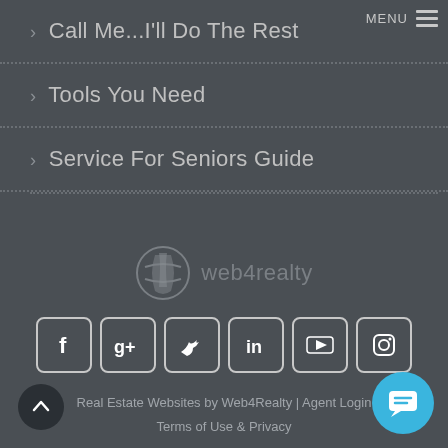› Call Me...I'll Do The Rest
› Tools You Need
› Service For Seniors Guide
[Figure (logo): web4realty logo with stylized leaf/bookmark icon]
[Figure (infographic): Social media icons: Facebook, Google+, Twitter, LinkedIn, YouTube, Instagram]
Real Estate Websites by Web4Realty | Agent Login  Terms of Use & Privacy